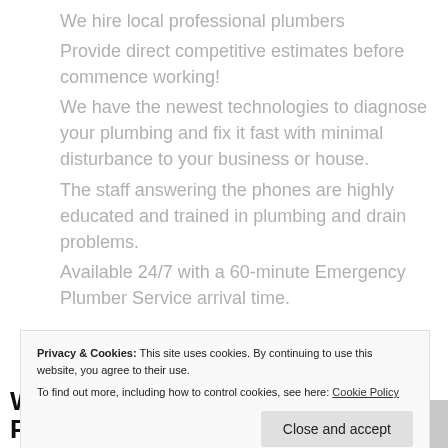We hire local professional plumbers
Provide direct competitive estimates before commence working!
We have the newest technologies to diagnose your plumbing and fix it fast with minimal disturbance to your business or house.
The staff answering the phones are highly educated and trained in plumbing and drain problems.
Available 24/7 with a 60-minute Emergency Plumber Service arrival time.
Privacy & Cookies: This site uses cookies. By continuing to use this website, you agree to their use.
To find out more, including how to control cookies, see here: Cookie Policy
Why Choose UK Property